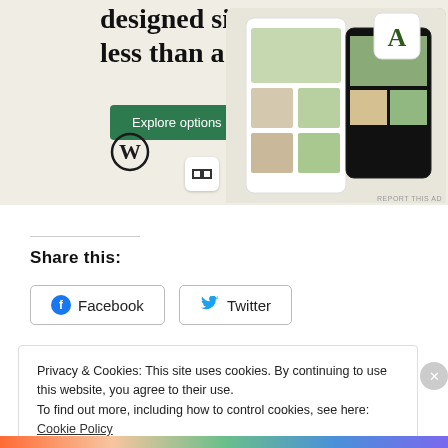[Figure (screenshot): WordPress/website builder advertisement banner with beige background showing 'designed sites in less than a week' headline, an Explore options green button, WordPress logo, and a mockup of a food website on mobile devices.]
REPORT THIS AD
Share this:
Facebook
Twitter
Privacy & Cookies: This site uses cookies. By continuing to use this website, you agree to their use.
To find out more, including how to control cookies, see here: Cookie Policy
Close and accept